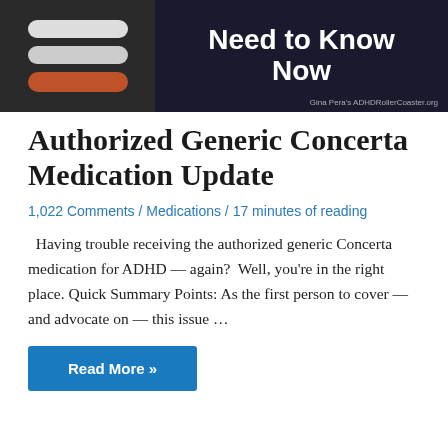[Figure (photo): Banner image showing white and orange/brown capsule pills on left side against dark background, with bold white text 'Need to Know Now' on the right. Credit line reads 'Gina Pera's ADHDRollerCoaster.org' at bottom right.]
Authorized Generic Concerta Medication Update
1,022 Comments / Medications / 17 minutes of reading
Having trouble receiving the authorized generic Concerta medication for ADHD — again?  Well, you're in the right place. Quick Summary Points: As the first person to cover — and advocate on — this issue …
Read More »